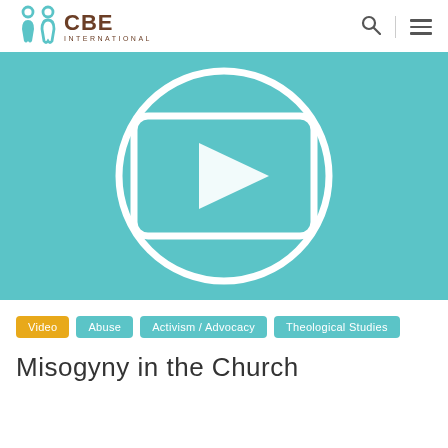CBE INTERNATIONAL
[Figure (screenshot): Video thumbnail with teal background showing a play button icon inside a circle and rounded rectangle, indicating a video player interface]
Video
Abuse
Activism / Advocacy
Theological Studies
Misogyny in the Church